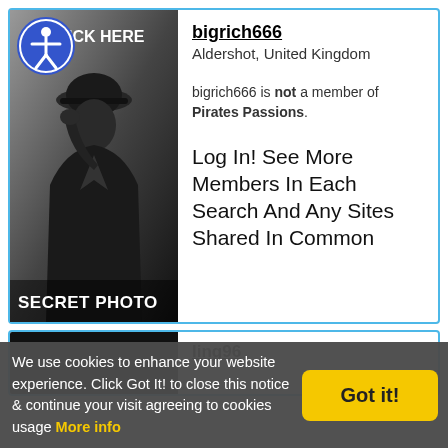[Figure (screenshot): Profile card for bigrich666 with a secret photo placeholder showing a silhouetted figure with hat, 'CLICK HERE' text and accessibility icon badge, and 'SECRET PHOTO' label at bottom]
bigrich666
Aldershot, United Kingdom
bigrich666 is not a member of Pirates Passions.
Log In! See More Members In Each Search And Any Sites Shared In Common
[Figure (photo): Partially visible second profile card for ling96 with a black photo placeholder]
ling96
We use cookies to enhance your website experience. Click Got It! to close this notice & continue your visit agreeing to cookies usage More info
Got it!